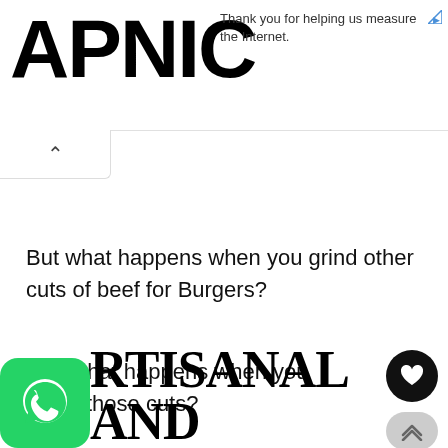APNIC
Thank you for helping us measure the Internet.
But what happens when you grind other cuts of beef for Burgers?
And what happens when you blend those cuts?
[Figure (logo): WhatsApp logo green rounded square icon]
ARTISANAL AND